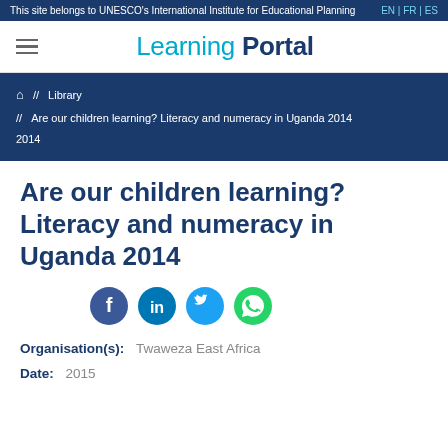This site belongs to UNESCO's International Institute for Educational Planning  EN | FR | ES
Learning Portal
// Library // Are our children learning? Literacy and numeracy in Uganda 2014
Are our children learning? Literacy and numeracy in Uganda 2014
[Figure (infographic): Social sharing icons: Facebook, LinkedIn, Twitter, WhatsApp]
Organisation(s): Twaweza East Africa
Date: 2015